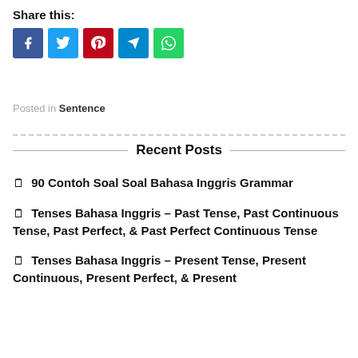Share this:
[Figure (infographic): Social share buttons: Facebook (blue), Twitter (light blue), Pinterest (red), Telegram (blue), WhatsApp (green)]
Posted in Sentence
Recent Posts
90 Contoh Soal Soal Bahasa Inggris Grammar
Tenses Bahasa Inggris – Past Tense, Past Continuous Tense, Past Perfect, & Past Perfect Continuous Tense
Tenses Bahasa Inggris – Present Tense, Present Continuous, Present Perfect, & Present